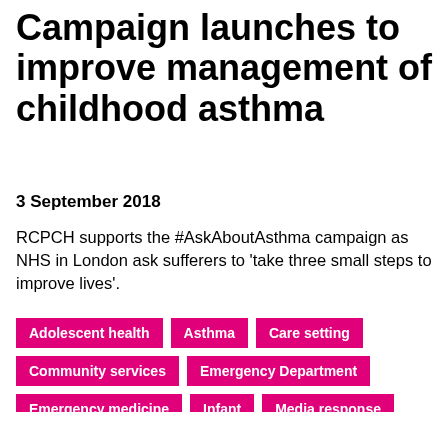Campaign launches to improve management of childhood asthma
3 September 2018
RCPCH supports the #AskAboutAsthma campaign as NHS in London ask sufferers to 'take three small steps to improve lives'.
Adolescent health
Asthma
Care setting
Community services
Emergency Department
Emergency medicine
Infant
Media response
Primary care
Respiratory medicine